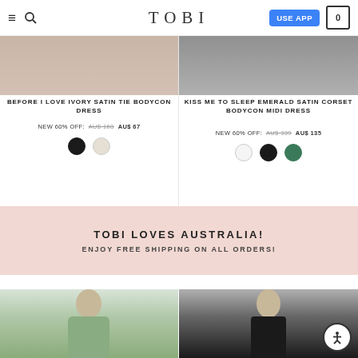TOBI — USE APP — Cart 0
BEFORE I LOVE IVORY SATIN TIE BODYCON DRESS
NEW 60% OFF: AU$ 168  AU$ 67
KISS ME TO SLEEP EMERALD SATIN CORSET BODYCON MIDI DRESS
NEW 60% OFF: AU$ 339  AU$ 135
[Figure (infographic): Pink promotional banner with text TOBI LOVES AUSTRALIA! ENJOY FREE SHIPPING ON ALL ORDERS!]
[Figure (photo): Woman in sage green dress]
[Figure (photo): Woman in black satin spaghetti strap dress]